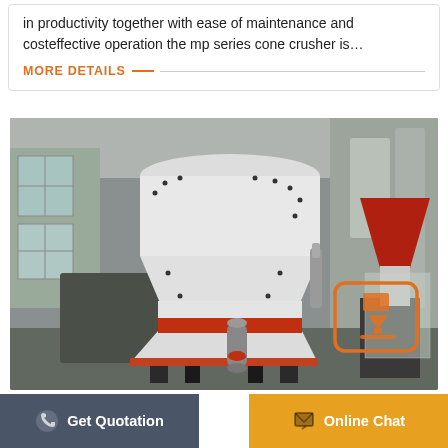in productivity together with ease of maintenance and costeffective operation the mp series cone crusher is…
MORE DETAILS
[Figure (photo): Industrial cone crusher machine photographed in a factory/warehouse setting. The machine is large, primarily white with red accent bands, mounted on a black steel frame. A cylindrical accumulator and hydraulic components are visible. A red-bordered download/arrow icon is overlaid in the lower-right area of the image.]
Get Quotation
Online Chat